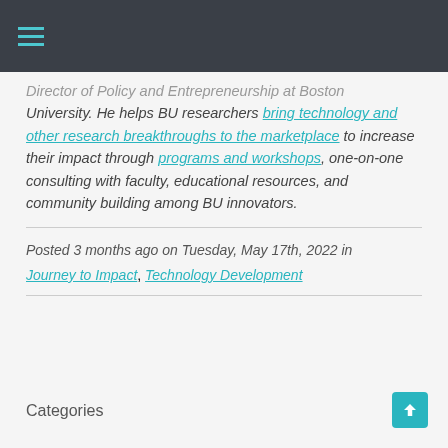Navigation menu (hamburger icon)
Director of Policy and Entrepreneurship at Boston University. He helps BU researchers bring technology and other research breakthroughs to the marketplace to increase their impact through programs and workshops, one-on-one consulting with faculty, educational resources, and community building among BU innovators.
Posted 3 months ago on Tuesday, May 17th, 2022 in Journey to Impact, Technology Development
Categories